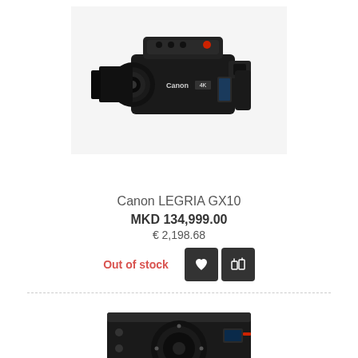[Figure (photo): Canon LEGRIA GX10 camcorder shown in profile on a light gray background]
Canon LEGRIA GX10
MKD 134,999.00
€ 2,198.68
Out of stock
[Figure (photo): Blackmagic Design camera body shown from the front on a white background, partially visible]